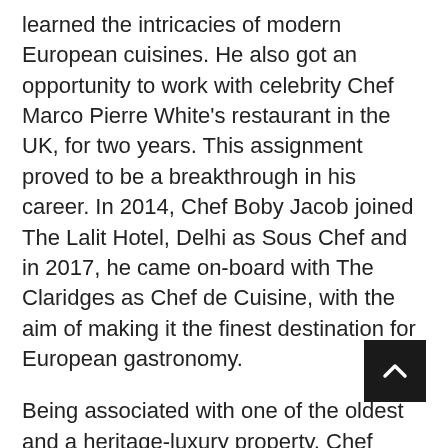learned the intricacies of modern European cuisines. He also got an opportunity to work with celebrity Chef Marco Pierre White's restaurant in the UK, for two years. This assignment proved to be a breakthrough in his career. In 2014, Chef Boby Jacob joined The Lalit Hotel, Delhi as Sous Chef and in 2017, he came on-board with The Claridges as Chef de Cuisine, with the aim of making it the finest destination for European gastronomy.
Being associated with one of the oldest and a heritage-luxury property, Chef Boby has been able to expand his horizon, with the freedom to operate in an open environment and seek constant guidance that can enable him to satisfy the diners.
In a candid conversation, he reveals more about his work and himself: